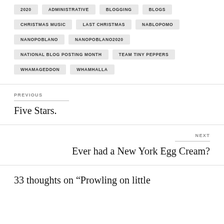2020
ADMINISTRATIVE
BLOGGING
BLOGS
CHRISTMAS MUSIC
LAST CHRISTMAS
NABLOPOMO
NANOPOBLANO
NANOPOBLANO2020
NATIONAL BLOG POSTING MONTH
TEAM TINY PEPPERS
WHAMAGEDDON
WHAMHALLA
PREVIOUS
Five Stars.
NEXT
Ever had a New York Egg Cream?
33 thoughts on “Prowling on little